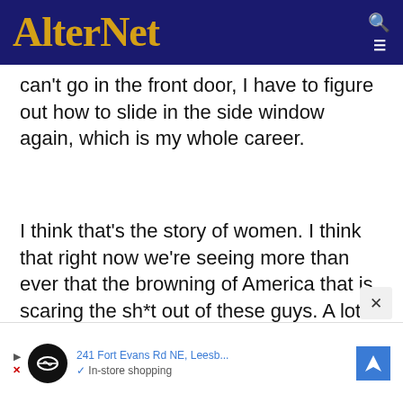AlterNet
can't go in the front door, I have to figure out how to slide in the side window again, which is my whole career.
I think that's the story of women. I think that right now we're seeing more than ever that the browning of America that is scaring the sh*t out of these guys. A lot of the guys that came after me after the photo, the Jeff Zuckers, and the agency heads, and the studio heads. I almost laugh because these are the same guys who
[Figure (screenshot): Advertisement bar at bottom showing a map navigation ad with address '241 Fort Evans Rd NE, Leesb...' and 'In-store shopping' text with icons]